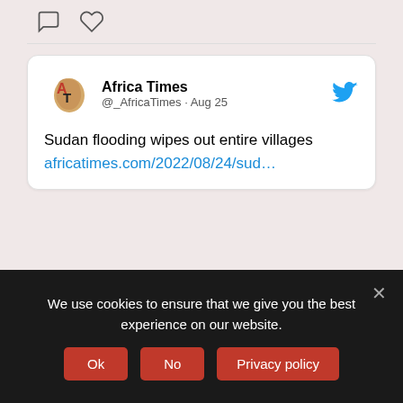[Figure (screenshot): Twitter/social media icons: speech bubble (comment) and heart (like) icons]
[Figure (screenshot): Tweet card from Africa Times (@_AfricaTimes · Aug 25) with Africa continent logo and Twitter bird icon. Tweet text: 'Sudan flooding wipes out entire villages' with link africatimes.com/2022/08/24/sud...]
SUBSCRIBE TO OUR NEWSLETTERS
Your Name
We use cookies to ensure that we give you the best experience on our website.